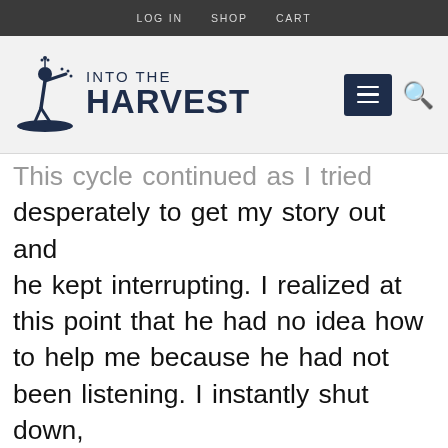LOG IN   SHOP   CART
[Figure (logo): Into The Harvest logo with sower figure and navigation menu/search icons]
This cycle continued as I tried desperately to get my story out and he kept interrupting. I realized at this point that he had no idea how to help me because he had not been listening. I instantly shut down, I listened to him explain his solution and afterwards we sat in awkward silence for about 5 minutes before I left, utterly surprised and dejected.